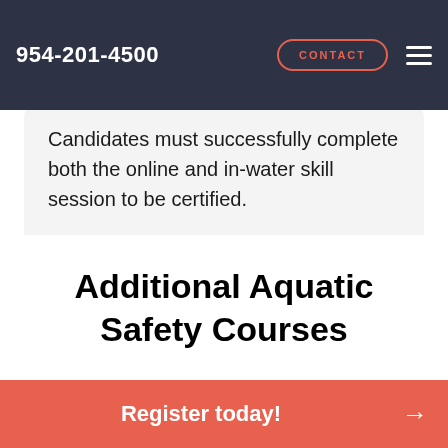954-201-4500  CONTACT
the lesson is complete before they will be parents to attend the in-water skill session.
Candidates must successfully complete both the online and in-water skill session to be certified.
Additional Aquatic Safety Courses
Register today! →